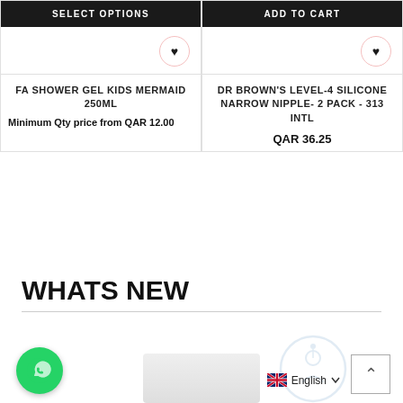SELECT OPTIONS
ADD TO CART
FA SHOWER GEL KIDS MERMAID 250ML
Minimum Qty price from QAR 12.00
DR BROWN'S LEVEL-4 SILICONE NARROW NIPPLE- 2 PACK - 313 INTL
QAR 36.25
WHATS NEW
[Figure (screenshot): Partial product listing page with WhatsApp chat button, scroll-to-top button, English language selector, and a partially visible product image at the bottom.]